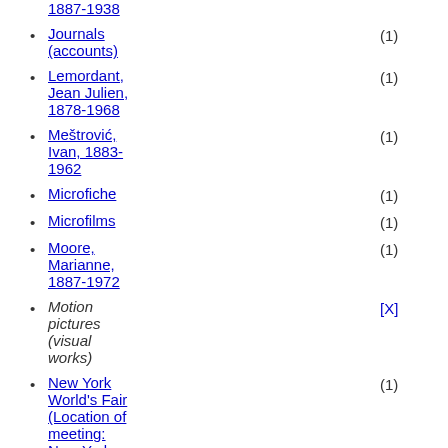1887-1938
Journals (accounts) (1)
Lemordant, Jean Julien, 1878-1968 (1)
Meštrović, Ivan, 1883-1962 (1)
Microfiche (1)
Microfilms (1)
Moore, Marianne, 1887-1972 (1)
Motion pictures (visual works) [X]
New York World's Fair (Location of meeting: New York, N.Y.). Date of meeting or treaty signing: (1939-1940 :.) (1)
Rouleau (1)